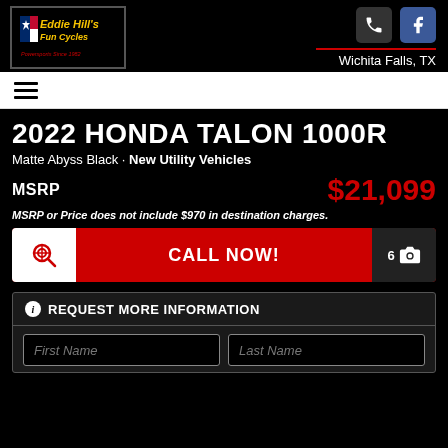[Figure (logo): Eddie Hill's Fun Cycles logo with Texas flag, yellow italic text on black background with red tagline 'Powersports Since 1982']
Wichita Falls, TX
2022 HONDA TALON 1000R
Matte Abyss Black • New Utility Vehicles
MSRP $21,099
MSRP or Price does not include $970 in destination charges.
CALL NOW!
REQUEST MORE INFORMATION
First Name
Last Name